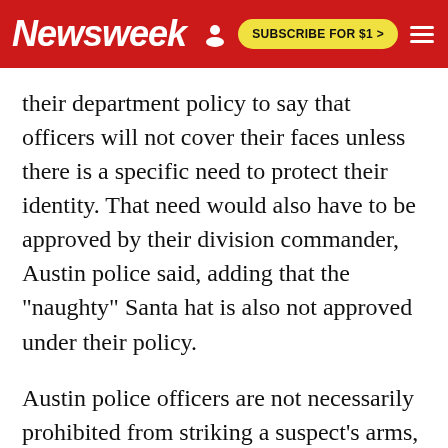Newsweek | SUBSCRIBE FOR $1 >
their department policy to say that officers will not cover their faces unless there is a specific need to protect their identity. That need would also have to be approved by their division commander, Austin police said, adding that the "naughty" Santa hat is also not approved under their policy.
Austin police officers are not necessarily prohibited from striking a suspect's arms, legs or head, as they did to Donald, so long as their actions are objectively reasonable, Chief Brian